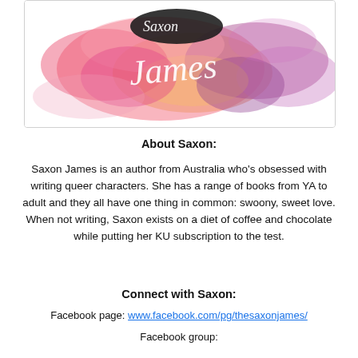[Figure (illustration): Colorful watercolor splash in pink, coral, orange, and purple tones with the cursive white text 'Saxon James' overlaid on top of a dark logo.]
About Saxon:
Saxon James is an author from Australia who’s obsessed with writing queer characters. She has a range of books from YA to adult and they all have one thing in common: swoony, sweet love.
When not writing, Saxon exists on a diet of coffee and chocolate while putting her KU subscription to the test.
Connect with Saxon:
Facebook page: www.facebook.com/pg/thesaxonjames/
Facebook group: